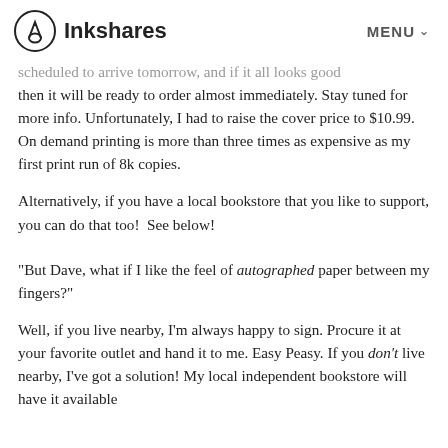Inkshares  MENU
scheduled to arrive tomorrow, and if it all looks good then it will be ready to order almost immediately. Stay tuned for more info. Unfortunately, I had to raise the cover price to $10.99. On demand printing is more than three times as expensive as my first print run of 8k copies.
Alternatively, if you have a local bookstore that you like to support, you can do that too!  See below!
"But Dave, what if I like the feel of autographed paper between my fingers?"
Well, if you live nearby, I'm always happy to sign. Procure it at your favorite outlet and hand it to me. Easy Peasy. If you don't live nearby, I've got a solution! My local independent bookstore will have it available